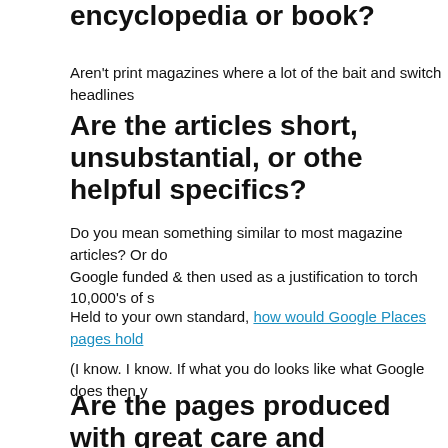encyclopedia or book?
Aren't print magazines where a lot of the bait and switch headlines
Are the articles short, unsubstantial, or othe helpful specifics?
Do you mean something similar to most magazine articles? Or do Google funded & then used as a justification to torch 10,000's of s
Held to your own standard, how would Google Places pages hold
(I know. I know. If what you do looks like what Google does then y
Are the pages produced with great care and less attention to detail?
This basically excludes almost any user generated content site, w
Would users complain when they see pages